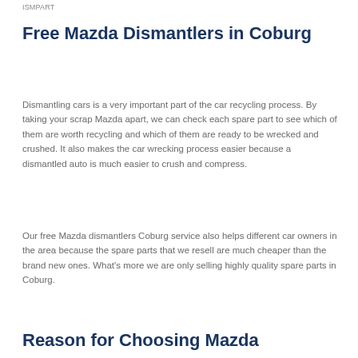ISMPART
Free Mazda Dismantlers in Coburg
Dismantling cars is a very important part of the car recycling process. By taking your scrap Mazda apart, we can check each spare part to see which of them are worth recycling and which of them are ready to be wrecked and crushed. It also makes the car wrecking process easier because a dismantled auto is much easier to crush and compress.
Our free Mazda dismantlers Coburg service also helps different car owners in the area because the spare parts that we resell are much cheaper than the brand new ones. What's more we are only selling highly quality spare parts in Coburg.
Reason for Choosing Mazda